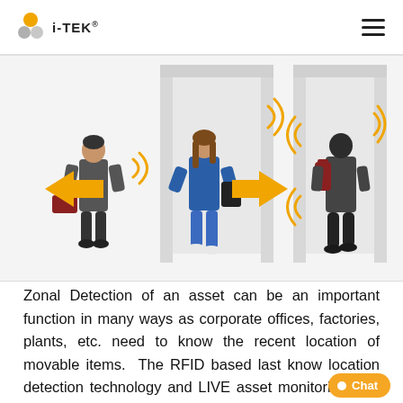i-TEK
[Figure (illustration): Two door frame illustrations showing RFID-based zonal detection. Left: a man with a briefcase walking toward a door and a woman with a laptop bag walking out, both with yellow signal waves and a yellow arrow pointing right. Right: a man with a backpack walking through a door with yellow signal waves and a yellow arrow pointing left.]
Zonal Detection of an asset can be an important function in many ways as corporate offices, factories, plants, etc. need to know the recent location of movable items. The RFID based last know location detection technology and LIVE asset monitoring with dashboarding helps nowadays many corporates and the companies dealing with tracking